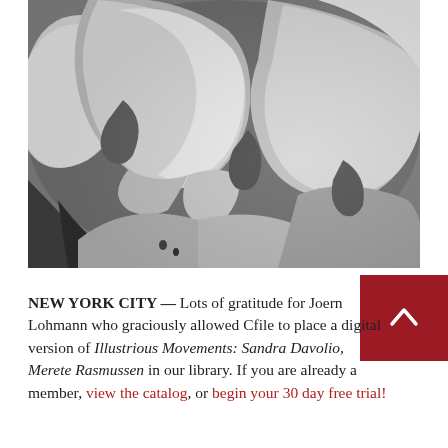[Figure (photo): Close-up black and white macro photograph of flower petals with soft, ruffled edges and dramatic light-shadow contrast, appearing to be a rose or similar bloom.]
NEW YORK CITY — Lots of gratitude for Joern Lohmann who graciously allowed Cfile to place a digital version of Illustrious Movements: Sandra Davolio, Merete Rasmussen in our library. If you are already a member, view the catalog, or begin your 30 day free trial!